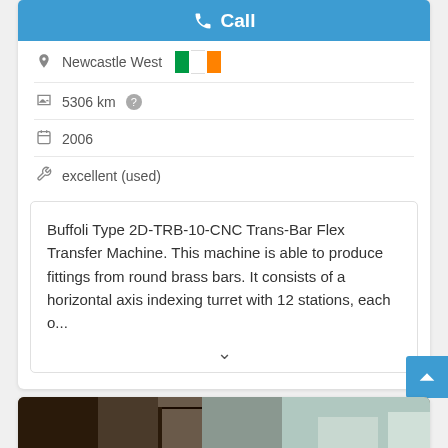Call
Newcastle West 🇮🇪
5306 km
2006
excellent (used)
Buffoli Type 2D-TRB-10-CNC Trans-Bar Flex Transfer Machine. This machine is able to produce fittings from round brass bars. It consists of a horizontal axis indexing turret with 12 stations, each o...
[Figure (photo): Industrial machine photo, partially visible at the bottom of the page]
Save search query